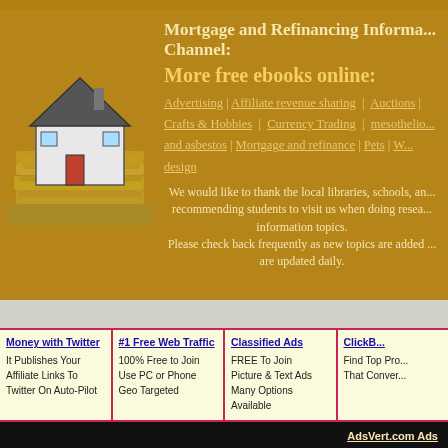Mortgage and Refinancing Information Channel:
More free ebooks online:
Advertising | Affiliate revenue sharing | Auctions | Crafts & Hobbies | Currency Trading | mesothelioma and asbestos | Mortgage and refinance | Pets | Website design
We would like to thank the local libraries, schools, and recommending students to visit us when doing research on information topics. Please check back frequently as new topics are added and are updated daily.
Money with Twitter
It Publishes Your Affiliate Links To Twitter On Auto-Pilot
#1 Free Web Traffic
100% Free to Join
Use PC or Phone
Geo Targeted
Classified Ads
FREE To Join
Picture & Text Ads
Many Options Available
ClickBank
Find Top Products That Convert
AdsVert.com Ads
Refinancing Your Home Mortgage Loan With Bad